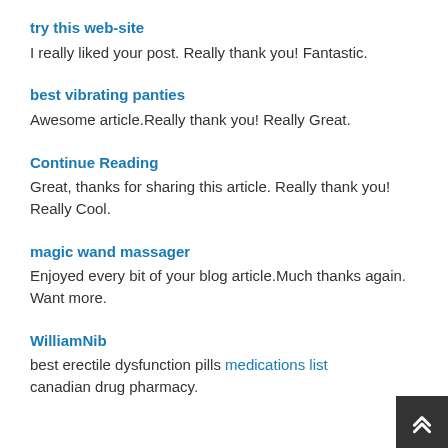try this web-site
I really liked your post. Really thank you! Fantastic.
best vibrating panties
Awesome article.Really thank you! Really Great.
Continue Reading
Great, thanks for sharing this article. Really thank you! Really Cool.
magic wand massager
Enjoyed every bit of your blog article.Much thanks again. Want more.
WilliamNib
best erectile dysfunction pills medications list canadian drug pharmacy.